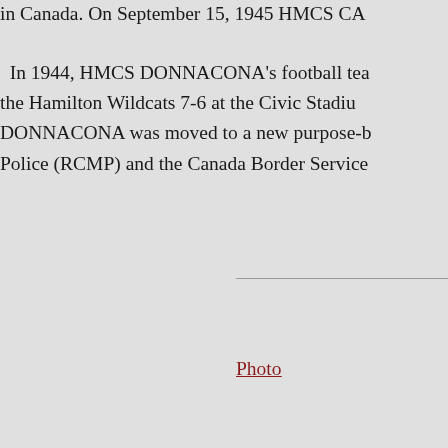in Canada. On September 15, 1945 HMCS CA...
In 1944, HMCS DONNACONA's football tea... the Hamilton Wildcats 7-6 at the Civic Stadiu... DONNACONA was moved to a new purpose-b... Police (RCMP) and the Canada Border Service...
Photo...
[Figure (illustration): White Ensign flag of the Royal Canadian Navy — white background with red cross and Union Jack in the upper-left canton]